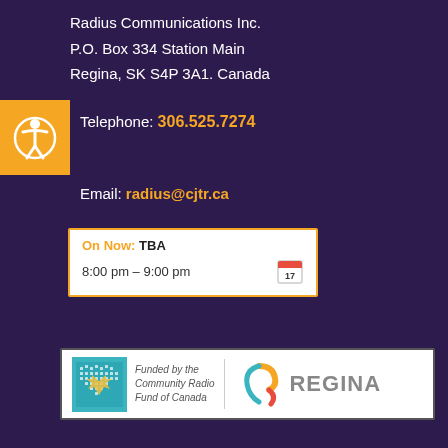Radius Communications Inc.
P.O. Box 334 Station Main
Regina, SK S4P 3A1. Canada
Telephone: 306.525.7274
Email: radius@cjtr.ca
On Now: TBA
8:00 pm – 9:00 pm
[Figure (logo): Funded by the Community Radio Fund of Canada logo and City of Regina logo]
Funded by the Community Radio Fund of Canada | REGINA